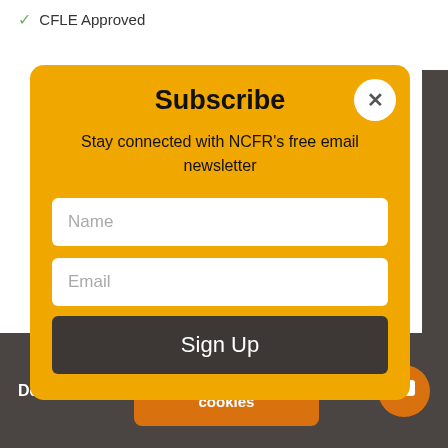✓ CFLE Approved
Subscribe
Stay connected with NCFR's free email newsletter
Name
Email
Sign Up
lies
sary
e
e
nce.
Learn more
Decline
Allow optional cookies
ON CAMPUS